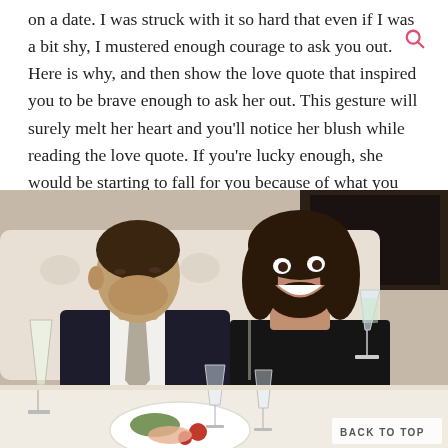on a date. I was struck with it so hard that even if I was a bit shy, I mustered enough courage to ask you out. Here is why, and then show the love quote that inspired you to be brave enough to ask her out. This gesture will surely melt her heart and you'll notice her blush while reading the love quote. If you're lucky enough, she would be starting to fall for you because of what you told her.
[Figure (photo): A couple at a restaurant dinner, man in a dark suit leaning close to a laughing woman in a black dress holding a champagne glass, sitting in a white booth seat with food and drinks on the table]